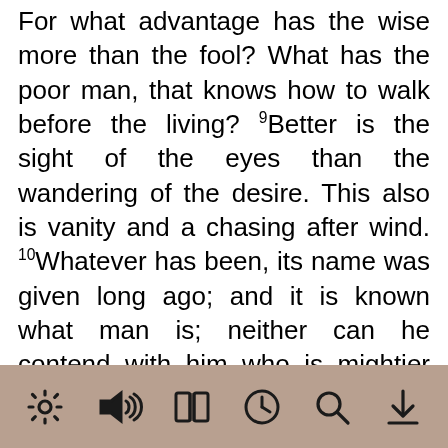For what advantage has the wise more than the fool? What has the poor man, that knows how to walk before the living? 9Better is the sight of the eyes than the wandering of the desire. This also is vanity and a chasing after wind. 10Whatever has been, its name was given long ago; and it is known what man is; neither can he contend with him who is mightier than he. 11For there are many words that create vanity. What does that profit man? 12For who knows what is good for man in life, all the days of his vain life which he spends like a shadow? For who can tell a man what will be after him under the sun?
[Figure (other): App toolbar with icons: settings (gear), audio (speaker), book, clock/history, search (magnifying glass), download (arrow down)]